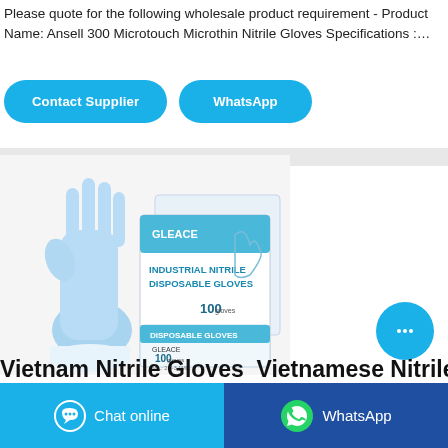Please quote for the following wholesale product requirement - Product Name: Ansell 300 Microtouch Microthin Nitrile Gloves Specifications :…
[Figure (other): Two cyan rounded-rectangle buttons labeled 'Contact Supplier' and 'WhatsApp']
[Figure (photo): Product photo of blue nitrile disposable gloves and GLEACE branded boxes labeled 'Industrial Nitrile Disposable Gloves 100 gloves']
[Figure (other): Cyan circular chat bubble button with ellipsis icon]
Vietnam Nitrile Gloves  Vietnamese Nitrile
[Figure (other): Bottom bar with two buttons: cyan 'Chat online' button with chat icon, and dark blue 'WhatsApp' button with WhatsApp logo]